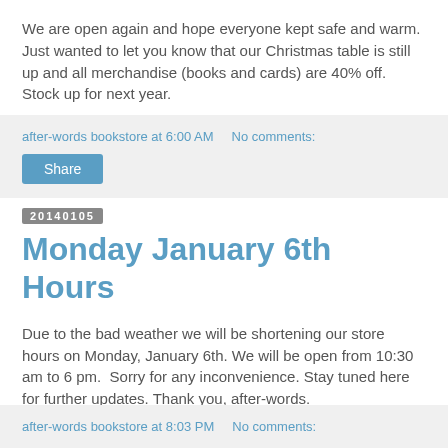We are open again and hope everyone kept safe and warm. Just wanted to let you know that our Christmas table is still up and all merchandise (books and cards) are 40% off. Stock up for next year.
after-words bookstore at 6:00 AM   No comments:
Share
20140105
Monday January 6th Hours
Due to the bad weather we will be shortening our store hours on Monday, January 6th. We will be open from 10:30 am to 6 pm.  Sorry for any inconvenience. Stay tuned here for further updates. Thank you, after-words.
after-words bookstore at 8:03 PM   No comments: